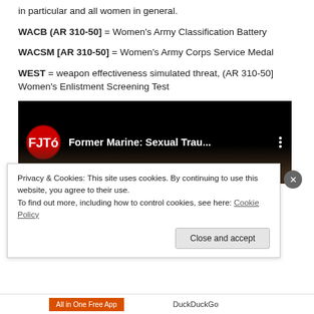in particular and all women in general.
WACB (AR 310-50] = Women's Army Classification Battery
WACSM [AR 310-50] = Women's Army Corps Service Medal
WEST = weapon effectiveness simulated threat, (AR 310-50] Women's Enlistment Screening Test
[Figure (screenshot): YouTube video thumbnail showing 'Former Marine: Sexual Trau...' with FJTó channel logo in red on black background, with a person's face partially visible.]
Privacy & Cookies: This site uses cookies. By continuing to use this website, you agree to their use.
To find out more, including how to control cookies, see here: Cookie Policy
Close and accept